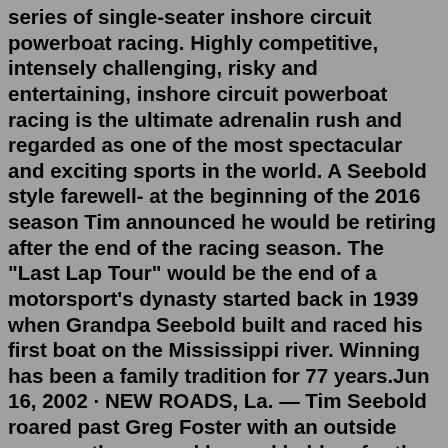series of single-seater inshore circuit powerboat racing. Highly competitive, intensely challenging, risky and entertaining, inshore circuit powerboat racing is the ultimate adrenalin rush and regarded as one of the most spectacular and exciting sports in the world. A Seebold style farewell- at the beginning of the 2016 season Tim announced he would be retiring after the end of the racing season. The "Last Lap Tour" would be the end of a motorsport's dynasty started back in 1939 when Grandpa Seebold built and raced his first boat on the Mississippi river. Winning has been a family tradition for 77 years.Jun 16, 2002 · NEW ROADS, La. — Tim Seebold roared past Greg Foster with an outside pass on the second lap and held on for the final 48 laps to win the first event of the new ChampBoat Series presented by Mercury Racing. The June 9 race was the series' inagural event. A Seebold style farewell- at the beginning of the 2016 season Tim announced he would be retiring after the end of the racing season. The "Last Lap Tour" would be the end of a motorsport's dynasty started